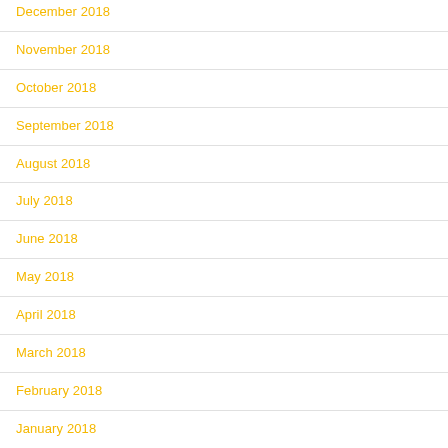December 2018
November 2018
October 2018
September 2018
August 2018
July 2018
June 2018
May 2018
April 2018
March 2018
February 2018
January 2018